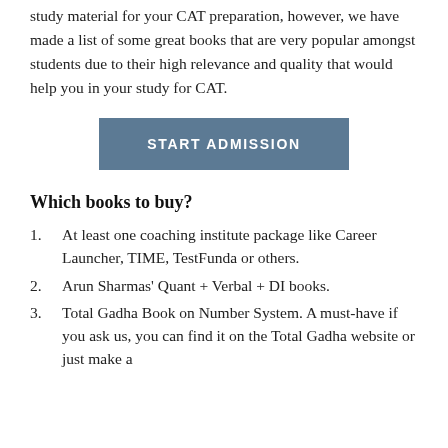study material for your CAT preparation, however, we have made a list of some great books that are very popular amongst students due to their high relevance and quality that would help you in your study for CAT.
START ADMISSION
Which books to buy?
At least one coaching institute package like Career Launcher, TIME, TestFunda or others.
Arun Sharmas' Quant + Verbal + DI books.
Total Gadha Book on Number System. A must-have if you ask us, you can find it on the Total Gadha website or just make a